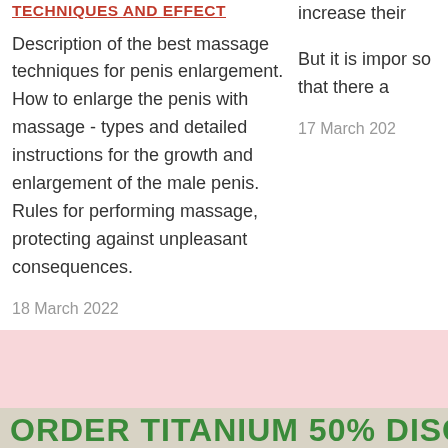TECHNIQUES AND EFFECT
Description of the best massage techniques for penis enlargement. How to enlarge the penis with massage - types and detailed instructions for the growth and enlargement of the male penis. Rules for performing massage, protecting against unpleasant consequences.
18 March 2022
increase their
But it is impor so that there a
17 March 202
[Figure (other): Pink background section]
ORDER TITANIUM 50% DISCO